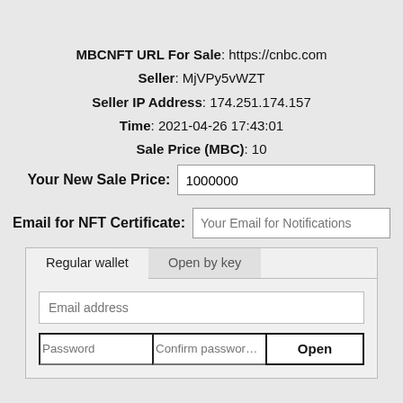MBCNFT URL For Sale: https://cnbc.com
Seller: MjVPy5vWZT
Seller IP Address: 174.251.174.157
Time: 2021-04-26 17:43:01
Sale Price (MBC): 10
Your New Sale Price: [input: 1000000]
Email for NFT Certificate: [input placeholder: Your Email for Notifications]
Tabs: Regular wallet | Open by key
[input: Email address]
[input: Password] [input: Confirm password] [button: Open]